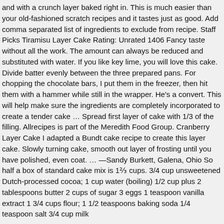and with a crunch layer baked right in. This is much easier than your old-fashioned scratch recipes and it tastes just as good. Add comma separated list of ingredients to exclude from recipe. Staff Picks Tiramisu Layer Cake Rating: Unrated 1406 Fancy taste without all the work. The amount can always be reduced and substituted with water. If you like key lime, you will love this cake. Divide batter evenly between the three prepared pans. For chopping the chocolate bars, I put them in the freezer, then hit them with a hammer while still in the wrapper. He's a convert. This will help make sure the ingredients are completely incorporated to create a tender cake … Spread first layer of cake with 1/3 of the filling. Allrecipes is part of the Meredith Food Group. Cranberry Layer Cake I adapted a Bundt cake recipe to create this layer cake. Slowly turning cake, smooth out layer of frosting until you have polished, even coat. … —Sandy Burkett, Galena, Ohio So half a box of standard cake mix is 1⅔ cups. 3/4 cup unsweetened Dutch-processed cocoa; 1 cup water (boiling) 1/2 cup plus 2 tablespoons butter 2 cups of sugar 3 eggs 1 teaspoon vanilla extract 1 3/4 cups flour; 1 1/2 teaspoons baking soda 1/4 teaspoon salt 3/4 cup milk